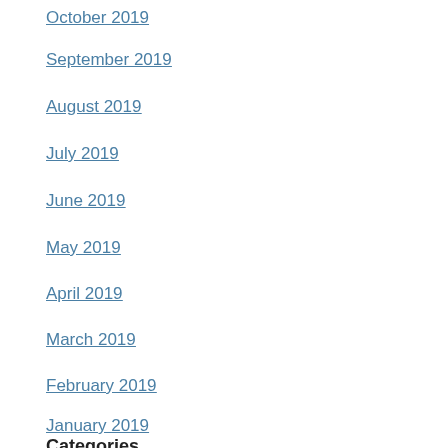October 2019
September 2019
August 2019
July 2019
June 2019
May 2019
April 2019
March 2019
February 2019
January 2019
Categories